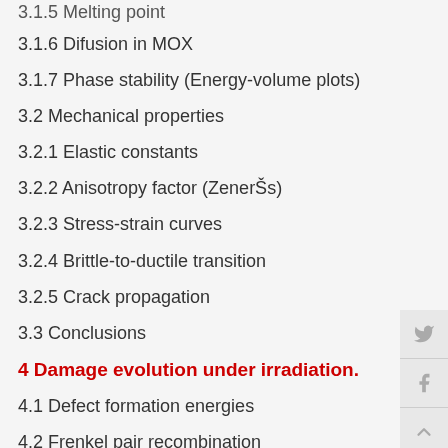3.1.5 Melting point
3.1.6 Difusion in MOX
3.1.7 Phase stability (Energy-volume plots)
3.2 Mechanical properties
3.2.1 Elastic constants
3.2.2 Anisotropy factor (ZenerŠs)
3.2.3 Stress-strain curves
3.2.4 Brittle-to-ductile transition
3.2.5 Crack propagation
3.3 Conclusions
4 Damage evolution under irradiation.
4.1 Defect formation energies
4.2 Frenkel pair recombination
4.3 Primary damage state
4.4 Dose efect
4.5 Elastic and…